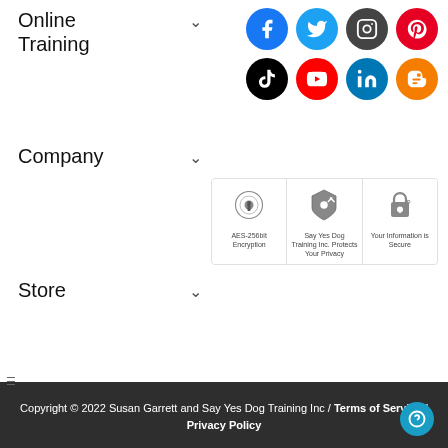Online Training
[Figure (infographic): Social media icons in 2 rows of 4: Facebook (blue), Twitter (light blue), Instagram (dark gray), Pinterest (red); TikTok (black), YouTube (red), LinkedIn (blue), Blogger (orange)]
Company
[Figure (infographic): Three security badges: AES-256bit Encryption lock icon; Say Yes Dog Training Inc. Protects Your Privacy shield icon; Your Information is Secure padlock icon]
Store
Copyright © 2022 Susan Garrett and Say Yes Dog Training Inc / Terms of Service / Privacy Policy